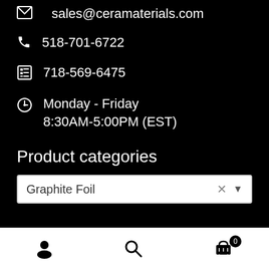sales@ceramaterials.com
518-701-6722
718-569-6475
Monday - Friday
8:30AM-5:00PM (EST)
Product categories
Graphite Foil
[Figure (screenshot): Bottom navigation bar with user, search, and cart (badge 0) icons]